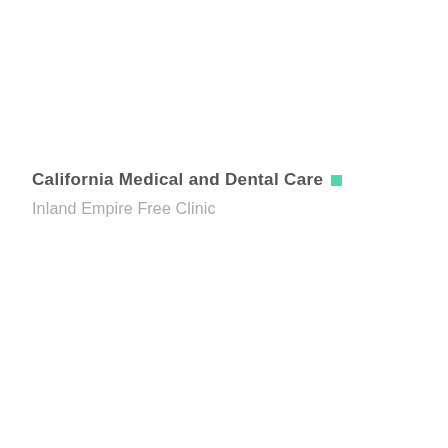California Medical and Dental Care
Inland Empire Free Clinic